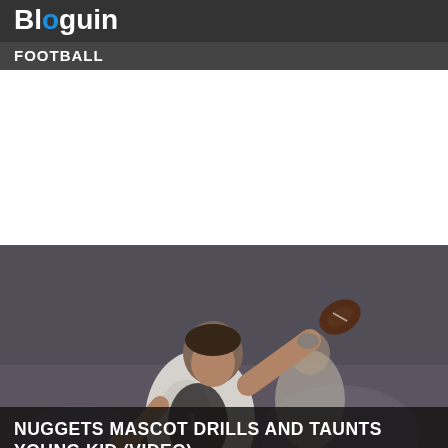Bloguin
FOOTBALL
[Figure (photo): A football quarterback in a white jersey raising a football to throw, photographed at night during a game, with blurred crowd in background.]
NUGGETS MASCOT DRILLS AND TAUNTS YOUNG KID (VIDEO)
The Sports Daily
The Sports Daily